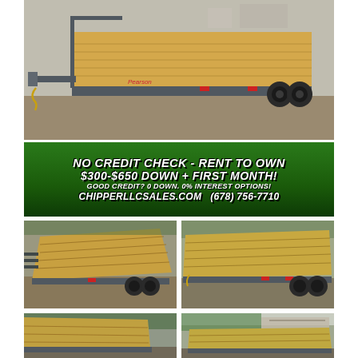[Figure (photo): Main photo of a gray flatbed/equipment trailer with wooden deck, viewed from front-left angle, parked on gravel/dirt area]
[Figure (infographic): Green banner advertisement: NO CREDIT CHECK - RENT TO OWN / $300-$650 DOWN + FIRST MONTH! / GOOD CREDIT? 0 DOWN. 0% INTEREST OPTIONS! / CHIPPERLLCSALES.COM  (678) 756-7710]
[Figure (photo): Photo of gray equipment trailer viewed from rear-left angle showing wooden deck]
[Figure (photo): Photo of gray equipment trailer viewed from rear-right angle showing wooden deck]
[Figure (photo): Partial photo of trailer from lower left, cropped at bottom of page]
[Figure (photo): Partial photo of trailer from lower right, cropped at bottom of page]